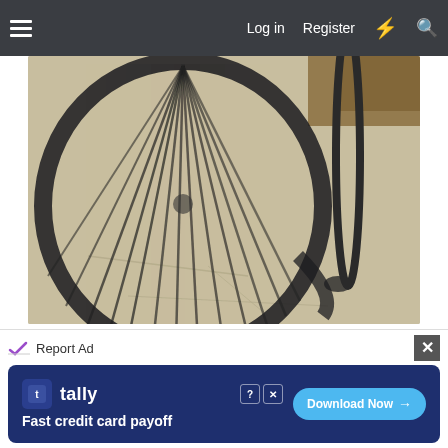Log in  Register
[Figure (photo): Shadow of a bicycle wheel cast on cracked concrete pavement, with the actual wheel rim visible on the right side and dry grass in the upper right corner.]
4) Caps!ze by GTHOtrod
[Figure (photo): Top portion of spiky desert plants (yucca or similar) photographed against a blue sky with clouds and green foliage.]
Report Ad
[Figure (screenshot): Advertisement banner for Tally app: 'Fast credit card payoff' with a Download Now button.]